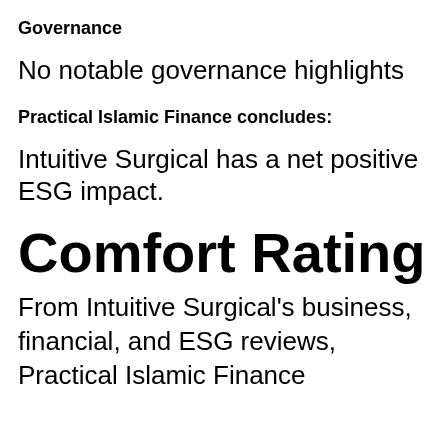Governance
No notable governance highlights
Practical Islamic Finance concludes:
Intuitive Surgical has a net positive ESG impact.
Comfort Rating
From Intuitive Surgical's business, financial, and ESG reviews, Practical Islamic Finance